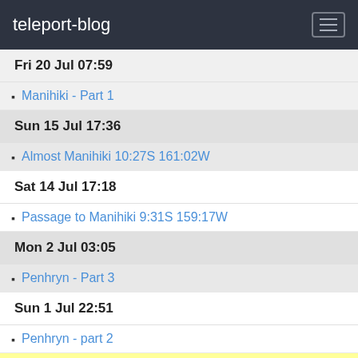teleport-blog
Fri 20 Jul 07:59
Manihiki - Part 1
Sun 15 Jul 17:36
Almost Manihiki 10:27S 161:02W
Sat 14 Jul 17:18
Passage to Manihiki 9:31S 159:17W
Mon 2 Jul 03:05
Penhryn - Part 3
Sun 1 Jul 22:51
Penhryn - part 2
Jun 2012
Sat 30 Jun 23:17
Colin's Penhryn fishing stories
Penhryn - Part 1
Thu 28 Jun 21:34